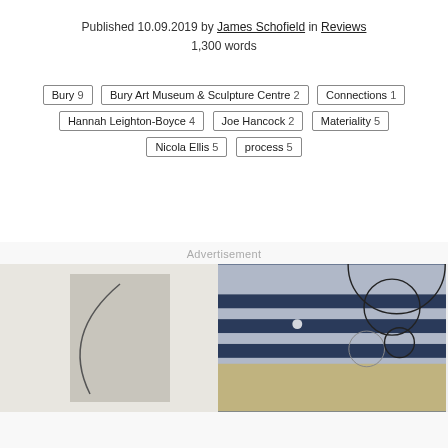Published 10.09.2019 by James Schofield in Reviews
1,300 words
Bury 9
Bury Art Museum & Sculpture Centre 2
Connections 1
Hannah Leighton-Boyce 4
Joe Hancock 2
Materiality 5
Nicola Ellis 5
process 5
Advertisement
[Figure (photo): Advertisement image showing art exhibition photos with artwork on white wall and industrial gallery space with blue beams, overlaid with decorative circle/lampshade shapes]